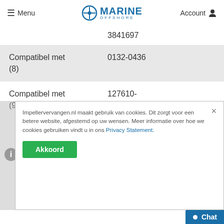Menu | Marine Offshore | Account
| Label | Value |
| --- | --- |
|  | 3841697 |
| Compatibel met (8) | 0132-0436 |
| Compatibel met (9) | 127610-42270
123325-42020/
120650-42310 |
Impellervervangen.nl maakt gebruik van cookies. Dit zorgt voor een betere website, afgestemd op uw wensen. Meer informatie over hoe we cookies gebruiken vindt u in ons Privacy Statement.
Akkoord